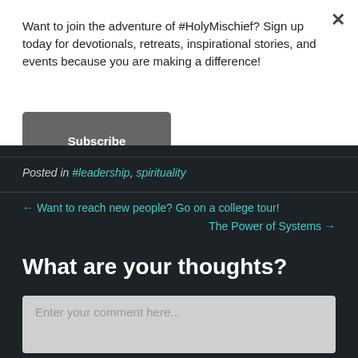Want to join the adventure of #HolyMischief? Sign up today for devotionals, retreats, inspirational stories, and events because you are making a difference!
Subscribe
Posted in #leadership, spirituality
← Want to reach new people? Go on a college tour!
The Power of Systems →
What are your thoughts?
Enter your comment here...